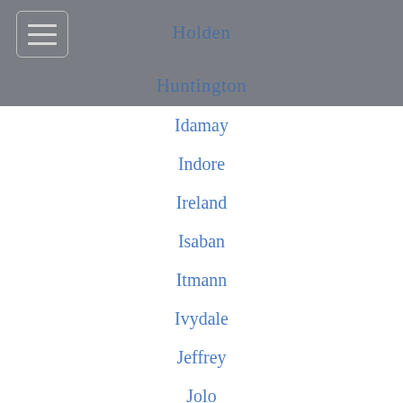Holden
Huntington
Idamay
Indore
Ireland
Isaban
Itmann
Ivydale
Jeffrey
Jolo